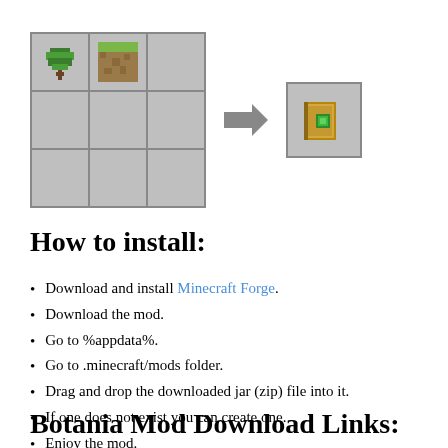[Figure (illustration): Minecraft crafting grid showing a 3x3 grid with a sapling in top-left and a dirt block in top-center, and an arrow pointing to a resulting item (a Botania mod item) on the right.]
How to install:
Download and install Minecraft Forge.
Download the mod.
Go to %appdata%.
Go to .minecraft/mods folder.
Drag and drop the downloaded jar (zip) file into it.
If one does not exist you can create one.
Enjoy the mod.
Botania Mod Download Links: